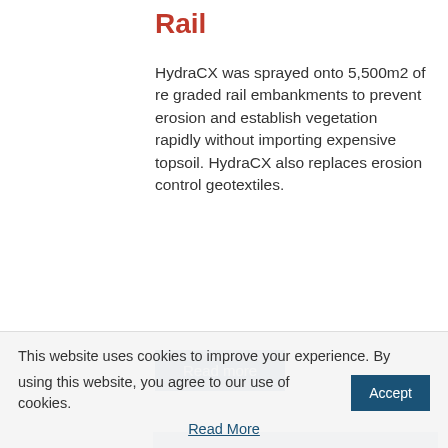Rail
HydraCX was sprayed onto 5,500m2 of re graded rail embankments to prevent erosion and establish vegetation rapidly without importing expensive topsoil. HydraCX also replaces erosion control geotextiles.
Read more
[Figure (photo): Workers in orange high-visibility vests working near a waterway on a rail embankment with grass and water visible]
This website uses cookies to improve your experience. By using this website, you agree to our use of cookies.
Accept
Read More